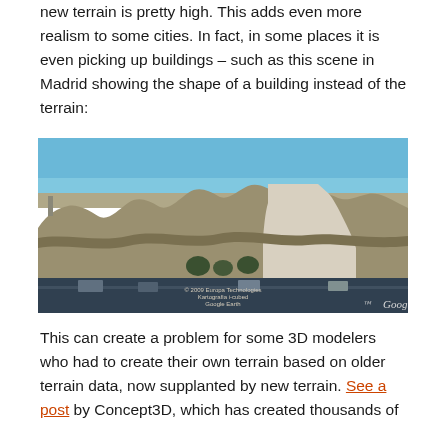new terrain is pretty high. This adds even more realism to some cities. In fact, in some places it is even picking up buildings – such as this scene in Madrid showing the shape of a building instead of the terrain:
[Figure (photo): Google Earth 3D view of Madrid showing distorted terrain that appears to have picked up the shape of a building instead of actual terrain data. The image shows a warped, undulating surface that looks like a building footprint rendered as terrain. The scene includes a blue sky, some surrounding landscape, and a Google copyright watermark in the bottom right corner.]
This can create a problem for some 3D modelers who had to create their own terrain based on older terrain data, now supplanted by new terrain. See a post by Concept3D, which has created thousands of GE 3D models, which was upset to this issue.